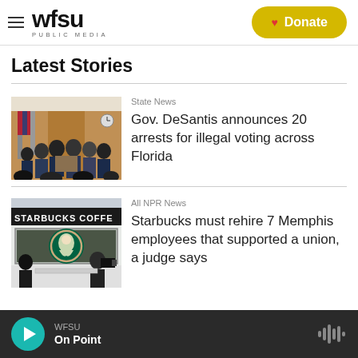WFSU PUBLIC MEDIA — Donate
Latest Stories
[Figure (photo): Group of officials standing at a press conference podium in a wood-paneled room with flags]
State News
Gov. DeSantis announces 20 arrests for illegal voting across Florida
[Figure (photo): Starbucks Coffee storefront with the green mermaid logo and a person with a camera outside]
All NPR News
Starbucks must rehire 7 Memphis employees that supported a union, a judge says
WFSU On Point